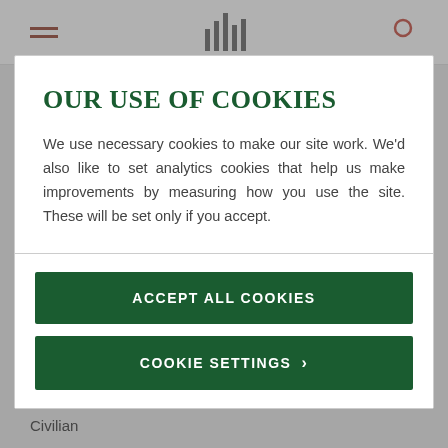Navigation bar with hamburger menu, barcode icon, and search icon
OUR USE OF COOKIES
We use necessary cookies to make our site work. We'd also like to set analytics cookies that help us make improvements by measuring how you use the site. These will be set only if you accept.
ACCEPT ALL COOKIES
COOKIE SETTINGS >
Civilian